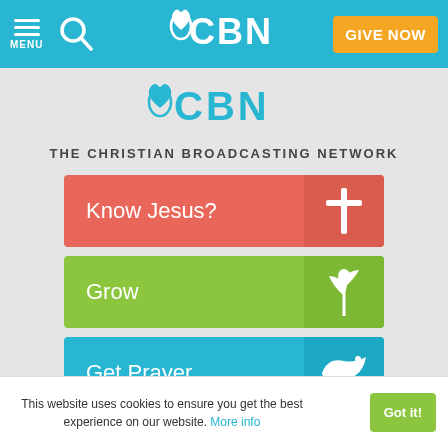CBN - The Christian Broadcasting Network - GIVE NOW
[Figure (logo): CBN logo with flame icon, large dark teal text on white/gray background]
THE CHRISTIAN BROADCASTING NETWORK
[Figure (infographic): Four navigation buttons: Know Jesus? (red with cross icon), Grow (green with plant icon), Get Prayer (blue with dove icon), Give Now (orange with heart icon)]
This website uses cookies to ensure you get the best experience on our website. More info
Got it!